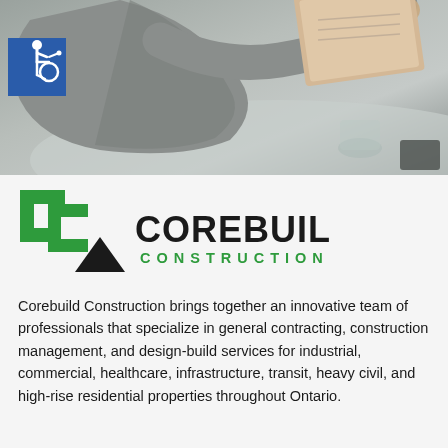[Figure (photo): Top portion shows a person in a grey blazer working at a desk with papers/clipboard. A blue accessibility icon badge is visible in the upper left corner.]
[Figure (logo): Corebuild Construction logo with green stylized 'C' shape and black triangle, with COREBUILD in bold black and CONSTRUCTION in green spaced letters.]
Corebuild Construction brings together an innovative team of professionals that specialize in general contracting, construction management, and design-build services for industrial, commercial, healthcare, infrastructure, transit, heavy civil, and high-rise residential properties throughout Ontario.